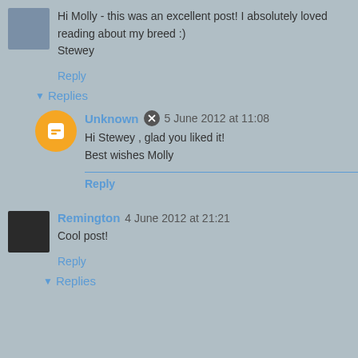Hi Molly - this was an excellent post! I absolutely loved reading about my breed :)
Stewey
Reply
▼ Replies
Unknown 5 June 2012 at 11:08
Hi Stewey , glad you liked it!
Best wishes Molly
Reply
Remington 4 June 2012 at 21:21
Cool post!
Reply
▼ Replies